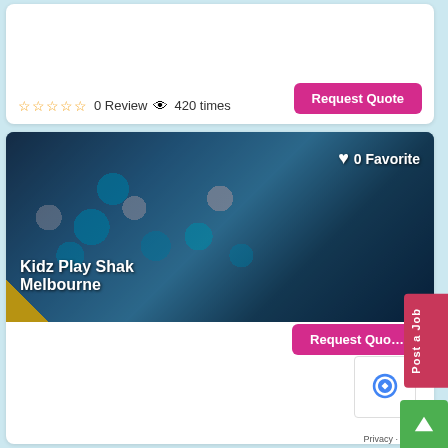☆☆☆☆☆ 0 Review 👁 420 times
Request Quote
[Figure (photo): Indoor play space with blue and silver balloon decorations, labeled 'Kidz Play Shak Melbourne'. White heart icon with '0 Favorite' text overlay in top right.]
☆☆☆☆☆ 0 Review 👁 367 times
Request Quote
Post a Job